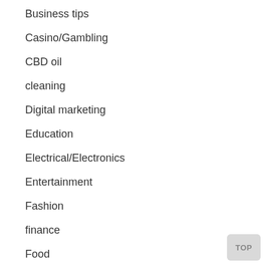Business tips
Casino/Gambling
CBD oil
cleaning
Digital marketing
Education
Electrical/Electronics
Entertainment
Fashion
finance
Food
Gadget